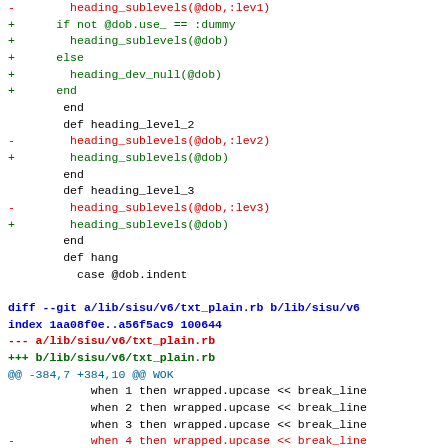Code diff showing changes to Ruby files in lib/sisu/v6/
diff --git a/lib/sisu/v6/txt_plain.rb b/lib/sisu/v6/txt_plain.rb
index 1aa08f0e..a56f5ac9 100644
--- a/lib/sisu/v6/txt_plain.rb
+++ b/lib/sisu/v6/txt_plain.rb
@@ -384,7 +384,10 @@ WOK